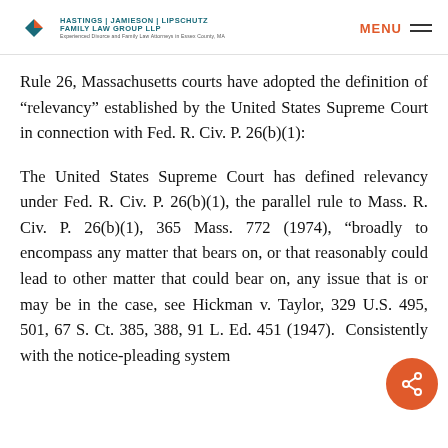HASTINGS | JAMIESON | LIPSCHUTZ FAMILY LAW GROUP LLP — MENU
Rule 26, Massachusetts courts have adopted the definition of “relevancy” established by the United States Supreme Court in connection with Fed. R. Civ. P. 26(b)(1):
The United States Supreme Court has defined relevancy under Fed. R. Civ. P. 26(b)(1), the parallel rule to Mass. R. Civ. P. 26(b)(1), 365 Mass. 772 (1974), “broadly to encompass any matter that bears on, or that reasonably could lead to other matter that could bear on, any issue that is or may be in the case, see Hickman v. Taylor, 329 U.S. 495, 501, 67 S. Ct. 385, 388, 91 L. Ed. 451 (1947). Consistently with the notice-pleading system